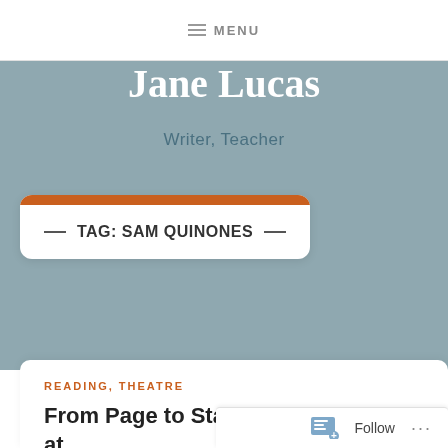MENU
Jane Lucas
Writer, Teacher
TAG: SAM QUINONES
READING, THEATRE
From Page to Stage: “Dreamland” at CSCC’s Blacklick Theatre
Follow …